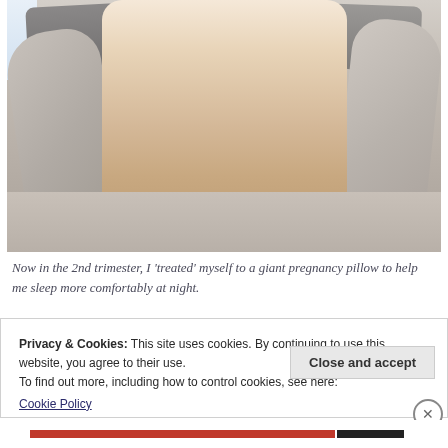[Figure (photo): A woman lying on a bed surrounded by a large U-shaped grey pregnancy pillow, smiling with her arms behind her head. She is wearing a white lace top and dark shorts. The bed has grey sheets and pillows.]
Now in the 2nd trimester, I 'treated' myself to a giant pregnancy pillow to help me sleep more comfortably at night.
Privacy & Cookies: This site uses cookies. By continuing to use this website, you agree to their use.
To find out more, including how to control cookies, see here:
Cookie Policy
Close and accept